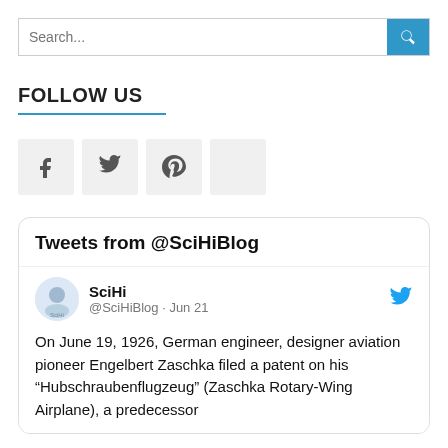Search...
FOLLOW US
[Figure (other): Social media icon buttons: Facebook (f), Twitter (bird), Pinterest (P), and one more icon button]
Tweets from @SciHiBlog
SciHi @SciHiBlog · Jun 21
On June 19, 1926, German engineer, designer aviation pioneer Engelbert Zaschka filed a patent on his "Hubschraubenflugzeug" (Zaschka Rotary-Wing Airplane), a predecessor